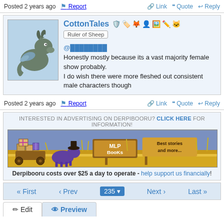Posted 2 years ago  Report  Link  Quote  Reply
CottonTales  Ruler of Sheep
@████████
Honestly mostly because its a vast majority female show probably.
I do wish there were more fleshed out consistent male characters though
Posted 2 years ago  Report  Link  Quote  Reply
[Figure (illustration): MLP Books advertisement banner with cartoon pony pulling a cart of books, sign reading 'MLP BooKs Best stories and more']
INTERESTED IN ADVERTISING ON DERPIBOORU? CLICK HERE FOR INFORMATION!
Derpibooru costs over $25 a day to operate - help support us financially!
« First  ‹ Prev  235  Next ›  Last »
Edit  Preview